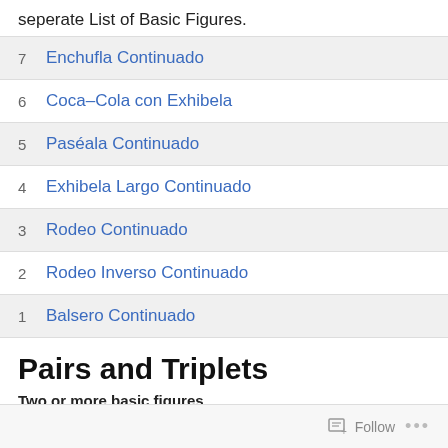seperate List of Basic Figures.
7  Enchufla Continuado
6  Coca-Cola con Exhibela
5  Paséala Continuado
4  Exhibela Largo Continuado
3  Rodeo Continuado
2  Rodeo Inverso Continuado
1  Balsero Continuado
Pairs and Triplets
Two or more basic figures
Follow  ...